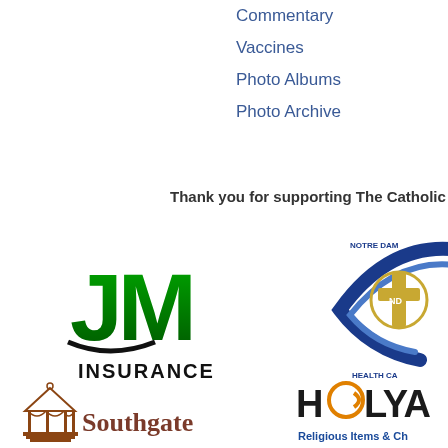Commentary
Vaccines
Photo Albums
Photo Archive
Thank you for supporting The Catholic Free P...
[Figure (logo): JM Insurance logo with large green JM letters and INSURANCE text below]
[Figure (logo): Notre Dame Health Care logo with blue swoosh and gold cross]
[Figure (logo): Southgate logo with gazebo illustration and Southgate text]
[Figure (logo): HolyA... Religious Items & Ch... logo with fish symbol in the O]